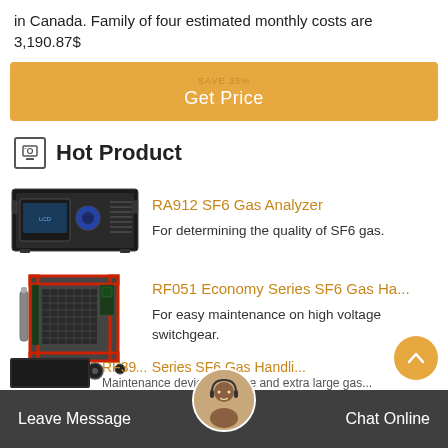in Canada. Family of four estimated monthly costs are 3,190.87$
[Figure (other): Orange 'Get Price' button with small text above]
Hot Product
[Figure (photo): RA912 SF6 Gas Analyzer device photo]
RA912 SF6 Gas Analyzer
For determining the quality of SF6 gas.
[Figure (photo): RF051 Economy Series SF6 Gas Handler device photo]
RF051 Economy Series SF6 Gas Ha...
For easy maintenance on high voltage switchgear.
RF39... Series SF6 Gas Handli...
Maintenance device for large and extra large gas...
Leave Message   Chat Online